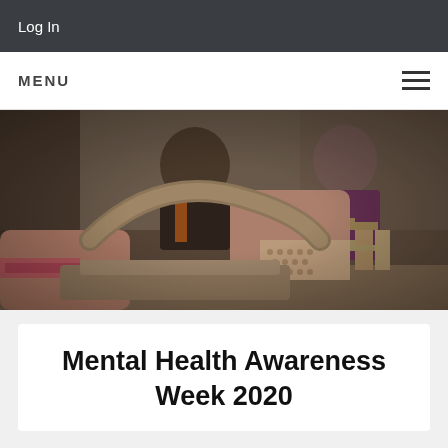Log In
MENU
[Figure (photo): People working with clay pottery in an art studio. Foreground shows close-up hands with pink bracelet shaping a clay sculpture. Background shows other participants and more clay sculptures on a table.]
Mental Health Awareness Week 2020